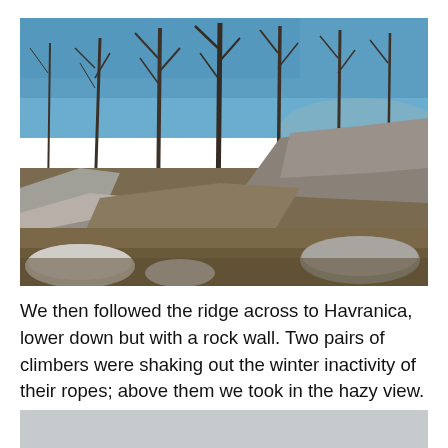[Figure (photo): Outdoor photograph showing a rocky ridge with bare deciduous trees against a clear blue sky. White and grey limestone rocks and boulders are visible in the foreground and along the ridge. Dry brown leaf litter covers the ground between the rocks. The trees are leafless, typical of late winter or early spring.]
We then followed the ridge across to Havranica, lower down but with a rock wall. Two pairs of climbers were shaking out the winter inactivity of their ropes; above them we took in the hazy view.